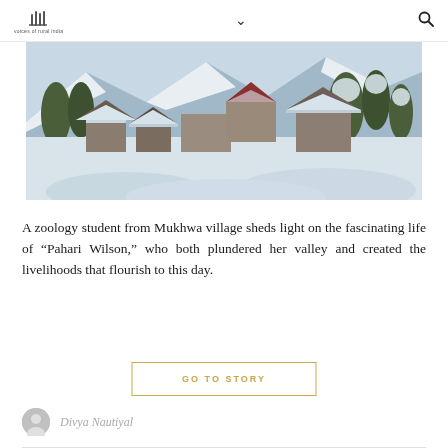voices of rural india
[Figure (photo): Aerial view of a snow-covered mountain village with traditional buildings blanketed in deep snow and conifer trees in the background]
A zoology student from Mukhwa village sheds light on the fascinating life of “Pahari Wilson,” who both plundered her valley and created the livelihoods that flourish to this day.
GO TO STORY
Divya Nautiyal